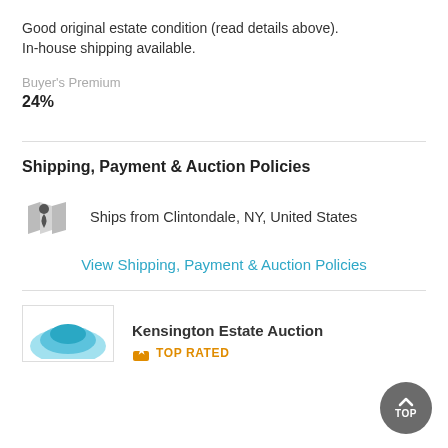Good original estate condition (read details above). In-house shipping available.
Buyer's Premium
24%
Shipping, Payment & Auction Policies
Ships from Clintondale, NY, United States
View Shipping, Payment & Auction Policies
Kensington Estate Auction
TOP RATED